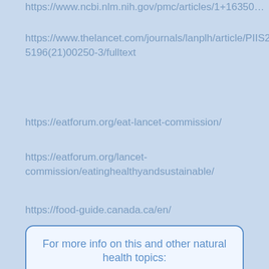https://www.thelancet.com/journals/lanplh/article/PIIS2542-5196(21)00250-3/fulltext
https://eatforum.org/eat-lancet-commission/
https://eatforum.org/lancet-commission/eatinghealthyandsustainable/
https://food-guide.canada.ca/en/
For more info on this and other natural health topics:
Book a Discovery Call with